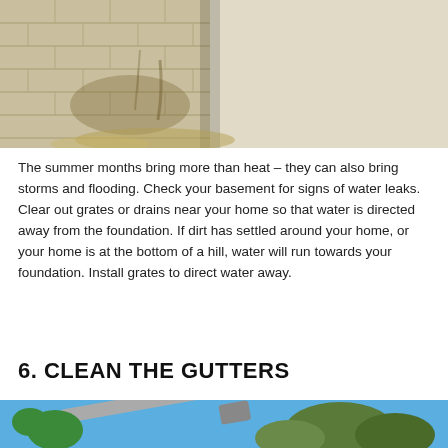[Figure (photo): Photo of a basement corner showing water damage and moisture seeping through cinder block walls, with water stains and dampness visible at the base of the walls.]
The summer months bring more than heat – they can also bring storms and flooding. Check your basement for signs of water leaks. Clear out grates or drains near your home so that water is directed away from the foundation. If dirt has settled around your home, or your home is at the bottom of a hill, water will run towards your foundation. Install grates to direct water away.
6. CLEAN THE GUTTERS
[Figure (photo): Photo of a person wearing green work gloves using a gutter cleaning tool, with a blue sky and trees visible in the background.]